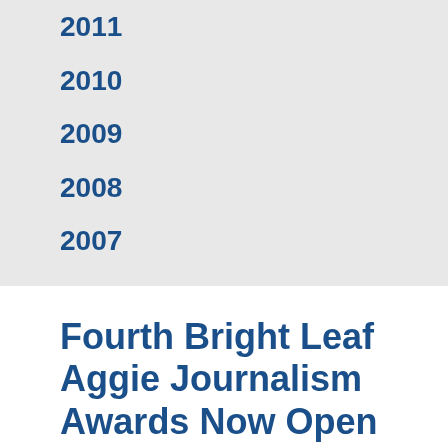2011
2010
2009
2008
2007
Fourth Bright Leaf Aggie Journalism Awards Now Open
September 4, 2010